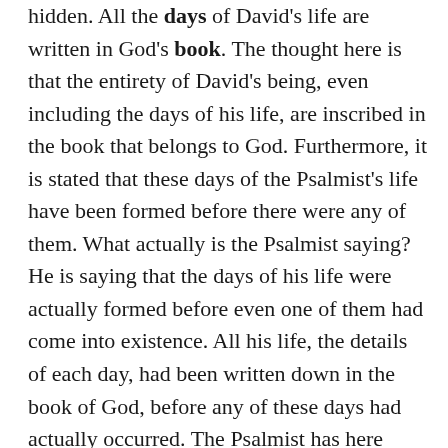hidden. All the days of David's life are written in God's book. The thought here is that the entirety of David's being, even including the days of his life, are inscribed in the book that belongs to God. Furthermore, it is stated that these days of the Psalmist's life have been formed before there were any of them. What actually is the Psalmist saying? He is saying that the days of his life were actually formed before even one of them had come into existence. All his life, the details of each day, had been written down in the book of God, before any of these days had actually occurred. The Psalmist has here reached a peak in his exaltation of the all-knowing and all-powerful God. Not only does God know all things, but God has also foreordained all things. In other words, the Psalmist has brought us head on with the doctrine of predestination. His life